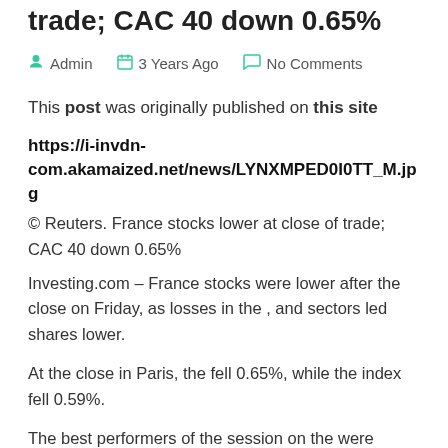trade; CAC 40 down 0.65%
Admin   3 Years Ago   No Comments
This post was originally published on this site
https://i-invdn-com.akamaized.net/news/LYNXMPED0I0TT_M.jpg
© Reuters. France stocks lower at close of trade; CAC 40 down 0.65%
Investing.com – France stocks were lower after the close on Friday, as losses in the , and sectors led shares lower.
At the close in Paris, the fell 0.65%, while the index fell 0.59%.
The best performers of the session on the were Publicis Groupe SA (PA:), which rose 2.05% or 0.76 points to trade at 37.76 at the close. Meanwhile, ArcelorMittal SA (AS:)